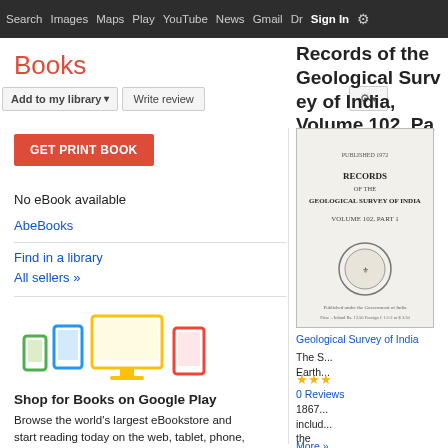Search  Images  Maps  Play  YouTube  News  Gmail  Drive  More  Sign in  ⚙
Books
Add to my library  ▾    Write review    ⚙ ▾
GET PRINT BOOK
No eBook available
AbeBooks
Find in a library
All sellers »
[Figure (illustration): Colorful device icons representing phone, tablet, and desktop monitor for Google Play Books]
Shop for Books on Google Play
Browse the world's largest eBookstore and start reading today on the web, tablet, phone,
Records of the Geological Survey of India, Volume 102, Pa
[Figure (photo): Cover page of 'Records of the Geological Survey of India, Volume 102, Part 1' showing title page text and an emblem]
Geological Survey of India
The S... Earth...
★★★
0 Reviews
1867... includ... the "Annu...
More »